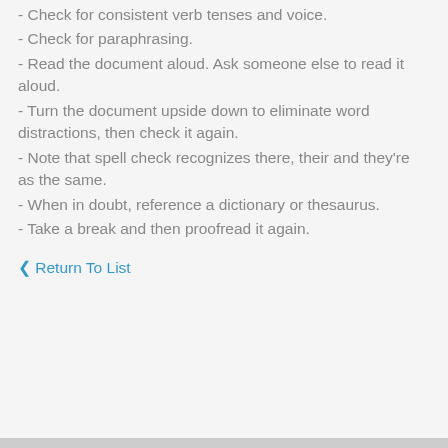- Check for consistent verb tenses and voice.
- Check for paraphrasing.
- Read the document aloud. Ask someone else to read it aloud.
- Turn the document upside down to eliminate word distractions, then check it again.
- Note that spell check recognizes there, their and they're as the same.
- When in doubt, reference a dictionary or thesaurus.
- Take a break and then proofread it again.
< Return To List